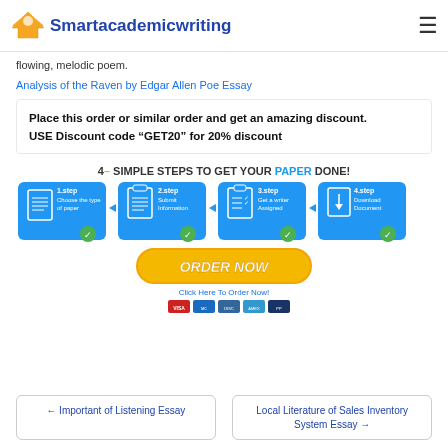Smartacademicwriting
flowing, melodic poem.
Analysis of the Raven by Edgar Allen Poe Essay
Place this order or similar order and get an amazing discount. USE Discount code “GET20” for 20% discount
[Figure (infographic): 4 simple steps to get your paper done: 1.step Choose the type of paper, 2.step Submit Information, 3.step Get a writer Assigned, 4.step Download Document. ORDER NOW button with Click Here To Order Now! and payment icons.]
← Important of Listening Essay
Local Literature of Sales Inventory System Essay →